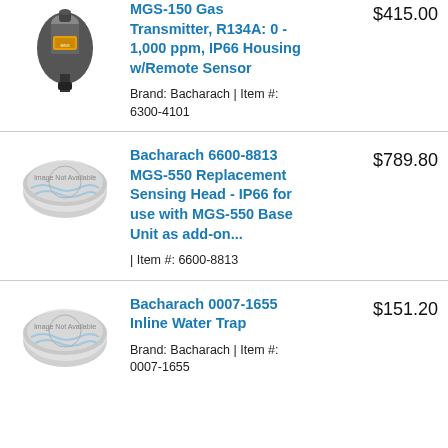[Figure (photo): Partial view of a gas transmitter device (cropped at top)]
MGS-150 Gas Transmitter, R134A: 0 - 1,000 ppm, IP66 Housing w/Remote Sensor
$415.00
Brand: Bacharach | Item #: 6300-4101
[Figure (photo): Image Not Available placeholder graphic]
Bacharach 6600-8813 MGS-550 Replacement Sensing Head - IP66 for use with MGS-550 Base Unit as add-on...
$789.80
| Item #: 6600-8813
[Figure (photo): Image Not Available placeholder graphic]
Bacharach 0007-1655 Inline Water Trap
$151.20
Brand: Bacharach | Item #: 0007-1655